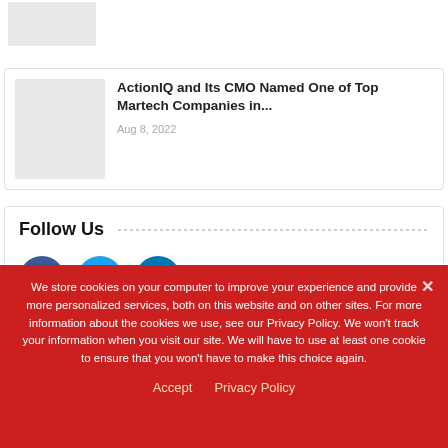[Figure (photo): Gray placeholder thumbnail image]
ActionIQ and Its CMO Named One of Top Martech Companies in...
Aug 8, 2022
Follow Us
[Figure (logo): Facebook social icon - blue circle with white f]
[Figure (logo): Twitter social icon - light blue circle with white bird]
[Figure (logo): LinkedIn social icon - dark blue circle with white in]
We store cookies on your computer to improve your experience and provide more personalized services, both on this website and on other sites. For more information about the cookies we use, see our Privacy Policy. We won't track your information when you visit our site. We will have to use at least one cookie to ensure that you won't have to make this choice again.
Accept   Privacy Policy